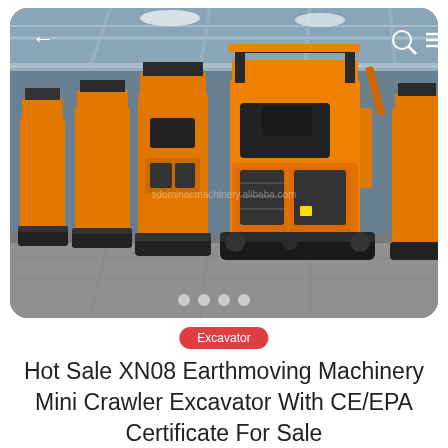[Figure (photo): Multiple orange mini crawler excavators (XN08) lined up in a warehouse/factory floor. The machines are bright orange with black tracks and canopy frames. Overhead industrial lighting illuminates the space. A faint watermark reads 'sdominacmachinery.alibaba.com'. Navigation icons (back arrow, search, menu) are visible at top corners. Four dot indicators appear at the bottom of the image.]
Excavator
Hot Sale XN08 Earthmoving Machinery Mini Crawler Excavator With CE/EPA Certificate For Sale